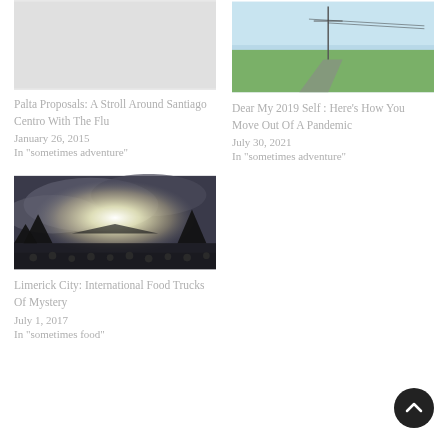[Figure (photo): Top left card: no visible image, light grey placeholder area]
Palta Proposals: A Stroll Around Santiago Centro With The Flu
January 26, 2015
In "sometimes adventure"
[Figure (photo): Top right card: outdoor landscape photo with road, green fields, and blue sky with utility pole]
Dear My 2019 Self : Here's How You Move Out Of A Pandemic
July 30, 2021
In "sometimes adventure"
[Figure (photo): Bottom left card: night/dusk outdoor concert or event photo with bright light bursting through clouds over a crowd]
Limerick City: International Food Trucks Of Mystery
July 1, 2017
In "sometimes food"